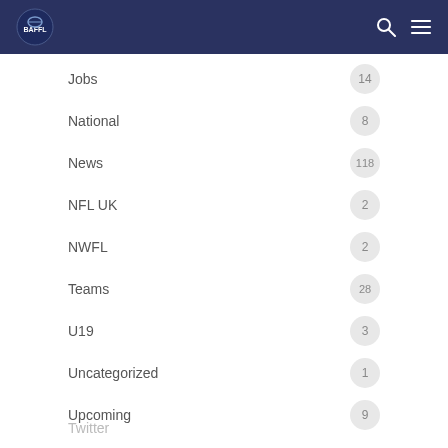BAFFL (logo) | search | menu
Jobs 14
National 8
News 118
NFL UK 2
NWFL 2
Teams 28
U19 3
Uncategorized 1
Upcoming 9
Twitter